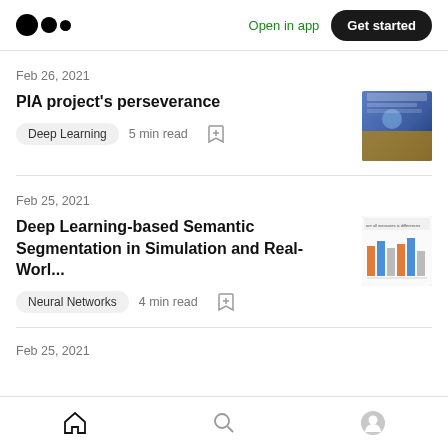Medium app header with logo, Open in app, Get started
Feb 26, 2021
PIA project's perseverance
Deep Learning  5 min read
Feb 25, 2021
Deep Learning-based Semantic Segmentation in Simulation and Real-Worl...
Neural Networks  4 min read
Feb 25, 2021
Home  Search  Profile navigation icons